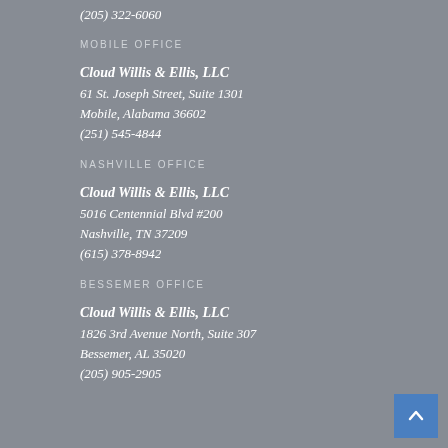(205) 322-6060
MOBILE OFFICE
Cloud Willis & Ellis, LLC
61 St. Joseph Street, Suite 1301
Mobile, Alabama 36602
(251) 545-4844
NASHVILLE OFFICE
Cloud Willis & Ellis, LLC
5016 Centennial Blvd #200
Nashville, TN 37209
(615) 378-8942
BESSEMER OFFICE
Cloud Willis & Ellis, LLC
1826 3rd Avenue North, Suite 307
Bessemer, AL 35020
(205) 905-2905